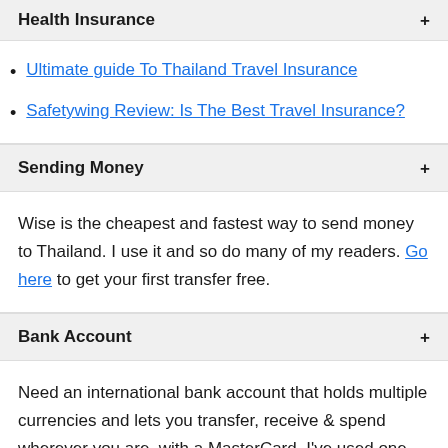Health Insurance
Ultimate guide To Thailand Travel Insurance
Safetywing Review: Is The Best Travel Insurance?
Sending Money
Wise is the cheapest and fastest way to send money to Thailand. I use it and so do many of my readers. Go here to get your first transfer free.
Bank Account
Need an international bank account that holds multiple currencies and lets you transfer, receive & spend wherever you are, with a MasterCard. I've used one for 5 years. Check out here
Travel
Hotels: Agoda offers good deals on hotels in Asia. This is